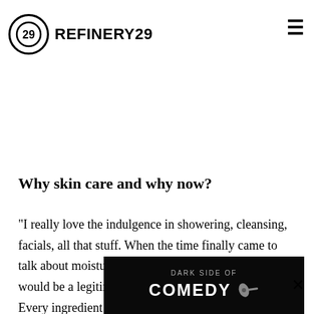REFINERY29
[Figure (screenshot): Greyed out hero image with 'THE' text visible at top]
Why skin care and why now?
"I really love the indulgence in showering, cleansing, facials, all that stuff. When the time finally came to talk about moisturiser, we had to think about what would be a legitimate way to tell a skin-care story. Every ingredient is important in this formula, and it's just simple. I love playing [something] ...ke to see that glowing skin peek through, and this product gives
[Figure (screenshot): Dark Side of Comedy advertisement overlay at bottom of page]